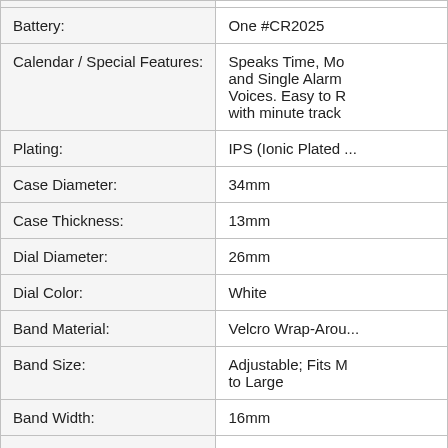| Attribute | Value |
| --- | --- |
| Battery: | One #CR2025 |
| Calendar / Special Features: | Speaks Time, Mo... and Single Alarm Voices. Easy to R... with minute track |
| Plating: | IPS (Ionic Plated ... |
| Case Diameter: | 34mm |
| Case Thickness: | 13mm |
| Dial Diameter: | 26mm |
| Dial Color: | White |
| Band Material: | Velcro Wrap-Arou... |
| Band Size: | Adjustable; Fits M... to Large |
| Band Width: | 16mm |
| Band Color: | Red and Blue |
| Hands: | Black with Red Se... |
| Clasp Type: | Slide-Thru Buckle Velcro Fastener |